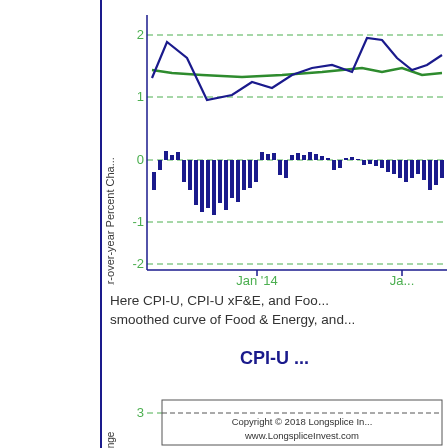[Figure (line-chart): Line chart showing CPI-U (dark blue), CPI-U xF&E (green smoothed curve), and Food & Energy (blue bars oscillating around 0). Y-axis from -2 to 2+. X-axis shows Jan '14 and Jan '(next year). Dark blue line starts ~1.6, rises to ~2, dips to ~1, rises back to ~2.1. Green line stays relatively flat ~1.7-1.8. Blue bars oscillate between approximately -0.8 and +0.3 around zero.]
Here CPI-U, CPI-U xF&E, and Foo... smoothed curve of Food & Energy, and...
CPI-U ...
[Figure (line-chart): Bottom partial chart showing y-axis with value 3 visible and partial lines, with copyright notice overlay.]
Copyright © 2018 Longsplice Invest... www.LongspliceInvest.com